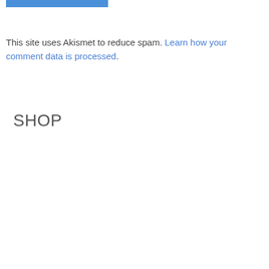[Figure (other): Blue rectangular button element at top of page]
This site uses Akismet to reduce spam. Learn how your comment data is processed.
SHOP